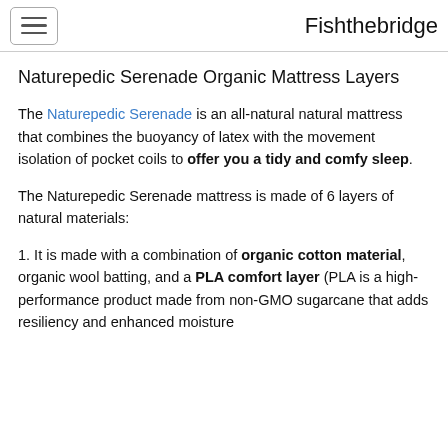Fishthebridge
Naturepedic Serenade Organic Mattress Layers
The Naturepedic Serenade is an all-natural natural mattress that combines the buoyancy of latex with the movement isolation of pocket coils to offer you a tidy and comfy sleep.
The Naturepedic Serenade mattress is made of 6 layers of natural materials:
1. It is made with a combination of organic cotton material, organic wool batting, and a PLA comfort layer (PLA is a high-performance product made from non-GMO sugarcane that adds resiliency and enhanced moisture